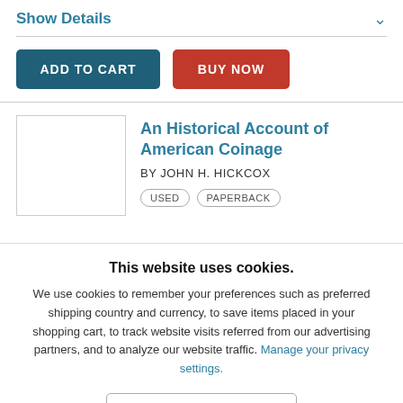Show Details
ADD TO CART
BUY NOW
An Historical Account of American Coinage
BY JOHN H. HICKCOX
USED   PAPERBACK
This website uses cookies.
We use cookies to remember your preferences such as preferred shipping country and currency, to save items placed in your shopping cart, to track website visits referred from our advertising partners, and to analyze our website traffic. Manage your privacy settings.
AGREE AND CLOSE